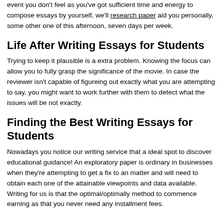event you don't feel as you've got sufficient time and energy to compose essays by yourself, we'll research paper aid you personally, some other one of this afternoon, seven days per week.
Life After Writing Essays for Students
Trying to keep it plausible is a extra problem. Knowing the focus can allow you to fully grasp the significance of the movie. In case the reviewer isn't capable of figureing out exactly what you are attempting to say, you might want to work further with them to detect what the issues will be not exactly.
Finding the Best Writing Essays for Students
Nowadays you notice our writing service that a ideal spot to discover educational guidance! An exploratory paper is ordinary in businesses when they're attempting to get a fix to an matter and will need to obtain each one of the attainable viewpoints and data available. Writing for us is that the optimal/optimally method to commence earning as that you never need any installment fees.